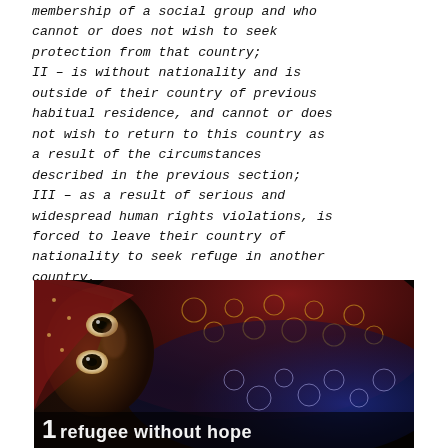membership of a social group and who cannot or does not wish to seek protection from that country; II – is without nationality and is outside of their country of previous habitual residence, and cannot or does not wish to return to this country as a result of the circumstances described in the previous section; III – as a result of serious and widespread human rights violations, is forced to leave their country of nationality to seek refuge in another country.
[Figure (photo): A person wrapped in a colorful patterned cloth/headscarf (red, blue, white with circular designs), lying down with large expressive eyes looking at the camera. Dark, dramatic lighting. Text overlay at the bottom reads '1 refugee without hope'.]